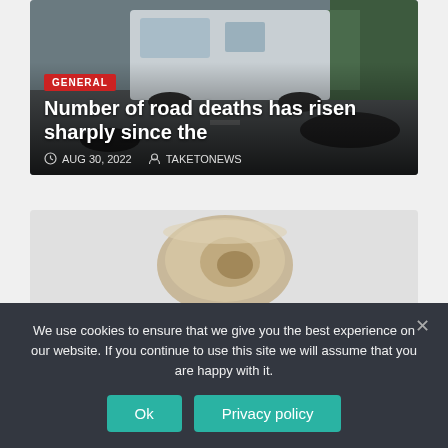[Figure (photo): News article card showing a road accident scene with a white van and body on the road, with category badge, headline, date and author overlay]
Number of road deaths has risen sharply since the
AUG 30, 2022   TAKETONEWS
[Figure (photo): News article card showing archaeological artifacts - a bowl and a machete/cleaver - on a light background, with category badge and headline overlay]
Countless archaeological
We use cookies to ensure that we give you the best experience on our website. If you continue to use this site we will assume that you are happy with it.
Ok   Privacy policy